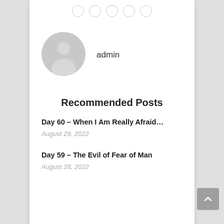[Figure (illustration): Gray placeholder user avatar icon with head and shoulders silhouette]
admin
Recommended Posts
Day 60 – When I Am Really Afraid…
August 29, 2022
Day 59 – The Evil of Fear of Man
August 28, 2022